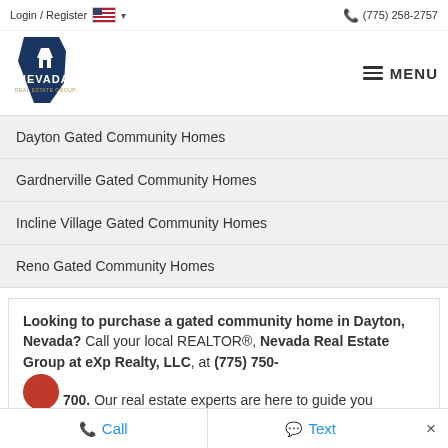Login / Register  (775) 258-2757
[Figure (logo): Nevada Real Estate Group logo — dark blue Nevada state shape with house icon, text NEVADA REAL ESTATE GROUP]
Dayton Gated Community Homes
Gardnerville Gated Community Homes
Incline Village Gated Community Homes
Reno Gated Community Homes
Looking to purchase a gated community home in Dayton, Nevada? Call your local REALTOR®, Nevada Real Estate Group at eXp Realty, LLC, at (775) 750-700. Our real estate experts are here to guide you
Call   Text   ×